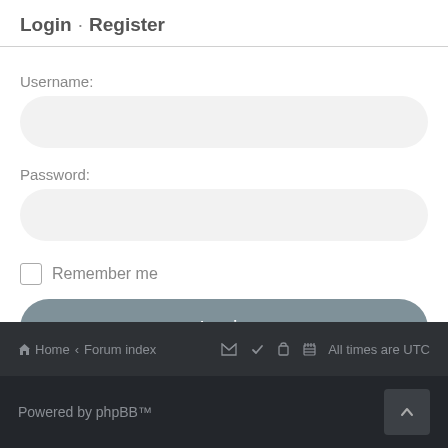Login · Register
Username:
Password:
Remember me
Login
Home · Forum index   All times are UTC
Powered by phpBB™